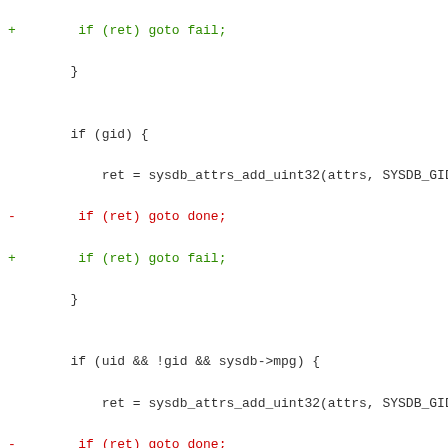Code diff showing changes to goto labels from 'done' to 'fail' in C source code, covering if-blocks for gid, uid/gid/mpg, gecos, and homedir conditions.